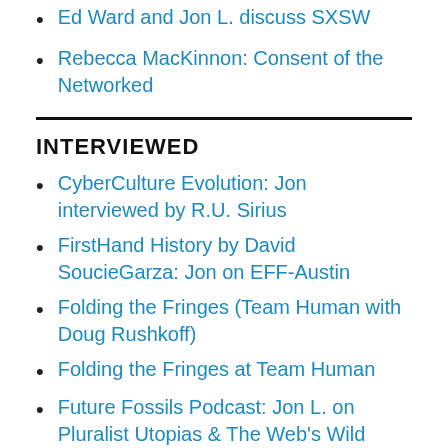Ed Ward and Jon L. discuss SXSW
Rebecca MacKinnon: Consent of the Networked
INTERVIEWED
CyberCulture Evolution: Jon interviewed by R.U. Sirius
FirstHand History by David SoucieGarza: Jon on EFF-Austin
Folding the Fringes (Team Human with Doug Rushkoff)
Folding the Fringes at Team Human
Future Fossils Podcast: Jon L. on Pluralist Utopias & The Web's Wild West